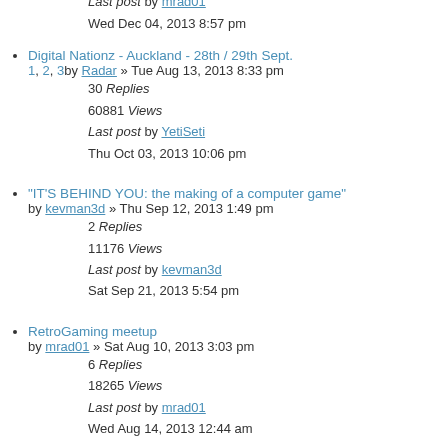16548 Views
Last post by mrad01
Wed Dec 04, 2013 8:57 pm
Digital Nationz - Auckland - 28th / 29th Sept.
1, 2, 3 by Radar » Tue Aug 13, 2013 8:33 pm
30 Replies
60881 Views
Last post by YetiSeti
Thu Oct 03, 2013 10:06 pm
"IT'S BEHIND YOU: the making of a computer game"
by kevman3d » Thu Sep 12, 2013 1:49 pm
2 Replies
11176 Views
Last post by kevman3d
Sat Sep 21, 2013 5:54 pm
RetroGaming meetup
by mrad01 » Sat Aug 10, 2013 3:03 pm
6 Replies
18265 Views
Last post by mrad01
Wed Aug 14, 2013 12:44 am
Interactive Fiction links to ebooks / articles (pdf search)
by YetiSeti » Tue Jul 09, 2013 10:58 pm
3 Replies
11764 Views